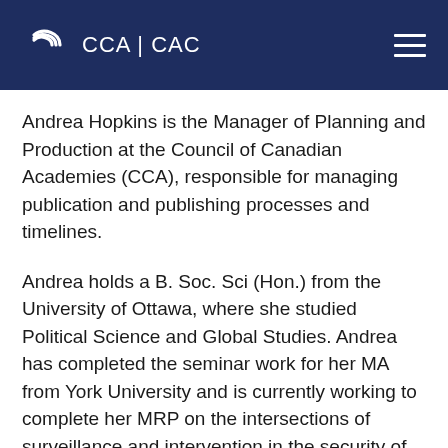CCA | CAC
Andrea Hopkins is the Manager of Planning and Production at the Council of Canadian Academies (CCA), responsible for managing publication and publishing processes and timelines.
Andrea holds a B. Soc. Sci (Hon.) from the University of Ottawa, where she studied Political Science and Global Studies. Andrea has completed the seminar work for her MA from York University and is currently working to complete her MRP on the intersections of surveillance and intervention in the security of the body,